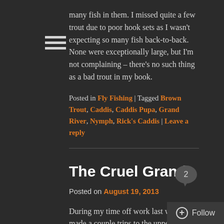many fish in them. I missed quite a few trout due to poor hook sets as I wasn’t expecting so many fish back-to-back. None were exceptionally large, but I’m not complaining – there’s no such thing as a bad trout in my book.
Posted in Fly Fishing | Tagged Brown Trout, Caddis, Caddis Pupa, Grand River, Nymph, Rick’s Caddis | Leave a reply
The Cruel Grand
Posted on August 19, 2013
During my time off work last week, I made a couple trips to the upper section of the Grand River. This river has had its share of hard times in the past couple years. Last year it was the abnormally high spring and summer temps, which resulted in nearly unfishable conditions for much of the summer. This year, temperatures have been ideal, but the record rainfalls have had it running extremely high